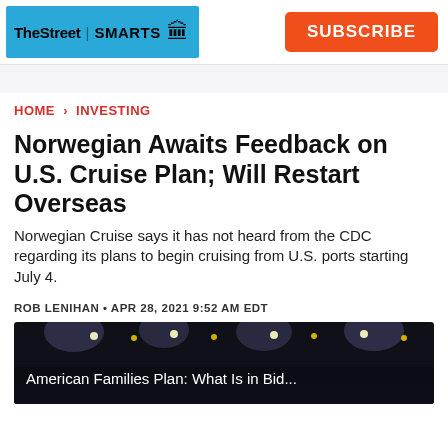TheStreet | SMARTS  SUBSCRIBE
HOME > INVESTING
Norwegian Awaits Feedback on U.S. Cruise Plan; Will Restart Overseas
Norwegian Cruise says it has not heard from the CDC regarding its plans to begin cruising from U.S. ports starting July 4.
ROB LENIHAN • APR 28, 2021 9:52 AM EDT
[Figure (screenshot): Video thumbnail showing a dark arena/stadium with lights, with caption text 'American Families Plan: What Is in Bid...']